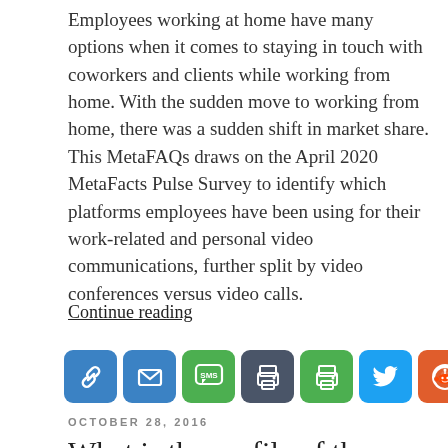Employees working at home have many options when it comes to staying in touch with coworkers and clients while working from home. With the sudden move to working from home, there was a sudden shift in market share. This MetaFAQs draws on the April 2020 MetaFacts Pulse Survey to identify which platforms employees have been using for their work-related and personal video communications, further split by video conferences versus video calls.
Continue reading
[Figure (infographic): Row of 8 social sharing icon buttons: chain link (blue), email (blue), SMS (green), print/dark blue, print/green, Twitter (light blue), Reddit (orange-red), LinkedIn (blue)]
OCTOBER 28, 2016
What is the profile of the most-active communicators? (MetaFAQs)